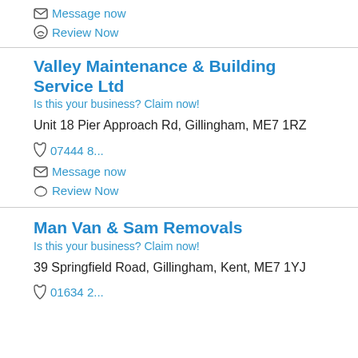Message now
Review Now
Valley Maintenance & Building Service Ltd
Is this your business? Claim now!
Unit 18 Pier Approach Rd, Gillingham, ME7 1RZ
07444 8...
Message now
Review Now
Man Van & Sam Removals
Is this your business? Claim now!
39 Springfield Road, Gillingham, Kent, ME7 1YJ
01634 2...